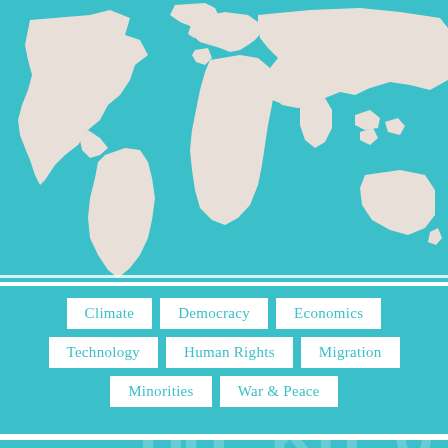[Figure (map): World map silhouette in white/cream on teal background, with faint word cloud text (Film, Power, War, Democracy, Television, etc.) visible behind the map continents. The map covers the top two-thirds of the page.]
Climate
Democracy
Economics
Technology
Human Rights
Migration
Minorities
War & Peace